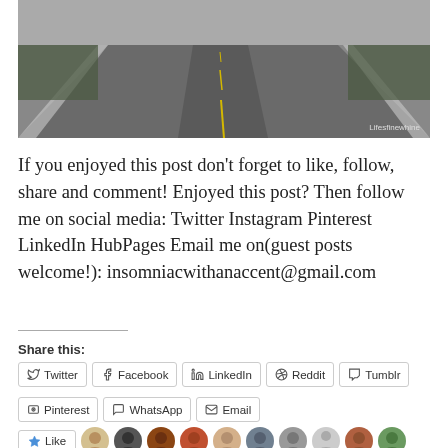[Figure (photo): A straight road stretching into the distance, viewed from center, with yellow lane markings, gray asphalt, white edge lines, and trees on sides. Watermark reads 'Lifesfinewhine'.]
If you enjoyed this post don't forget to like, follow, share and comment! Enjoyed this post? Then follow me on social media: Twitter Instagram Pinterest LinkedIn HubPages Email me on(guest posts welcome!): insomniacwithanaccent@gmail.com
Share this:
Twitter Facebook LinkedIn Reddit Tumblr Pinterest WhatsApp Email
Like